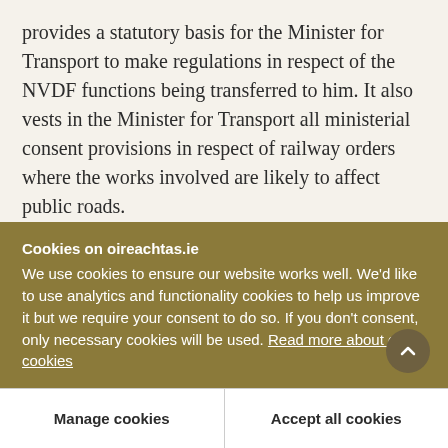provides a statutory basis for the Minister for Transport to make regulations in respect of the NVDF functions being transferred to him. It also vests in the Minister for Transport all ministerial consent provisions in respect of railway orders where the works involved are likely to affect public roads.
With regard to non-national roads, following the general election in 2002, most of the departmental administration and ministerial functions relating to roads, road traffic and road safety were transferred
Cookies on oireachtas.ie
We use cookies to ensure our website works well. We'd like to use analytics and functionality cookies to help us improve it but we require your consent to do so. If you don't consent, only necessary cookies will be used. Read more about our cookies
Manage cookies
Accept all cookies